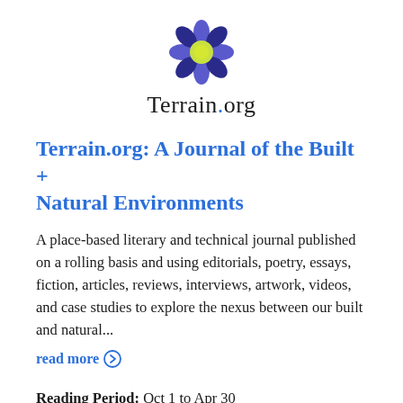[Figure (logo): Flower logo made of purple/blue and dark blue petals arranged in a circle with a yellow-green center]
Terrain.org
Terrain.org: A Journal of the Built + Natural Environments
A place-based literary and technical journal published on a rolling basis and using editorials, poetry, essays, fiction, articles, reviews, interviews, artwork, videos, and case studies to explore the nexus between our built and natural...
read more →
Reading Period:  Oct 1 to Apr 30
Genre:  Poetry, Fiction, Creative Nonfiction